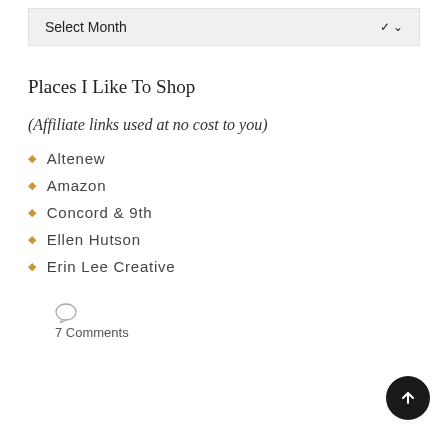[Figure (screenshot): Dropdown selector showing 'Select Month' with a chevron arrow, styled as a UI widget]
Places I Like To Shop
(Affiliate links used at no cost to you)
Altenew
Amazon
Concord & 9th
Ellen Hutson
Erin Lee Creative
7 Comments